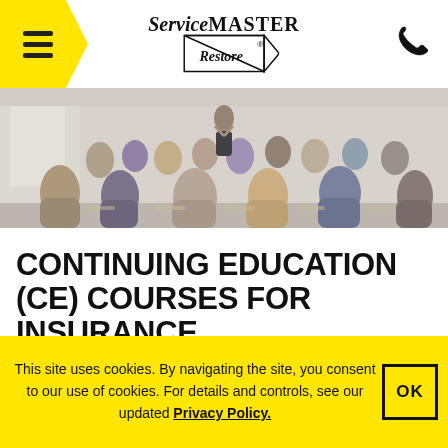[Figure (logo): ServiceMASTER Restore logo with triangle graphic]
[Figure (photo): Classroom full of people attending a professional seminar or continuing education course, viewed from behind, with an instructor at the front]
CONTINUING EDUCATION (CE) COURSES FOR INSURANCE PROFESSIONALS
This site uses cookies. By navigating the site, you consent to our use of cookies. For details and controls, see our updated Privacy Policy.